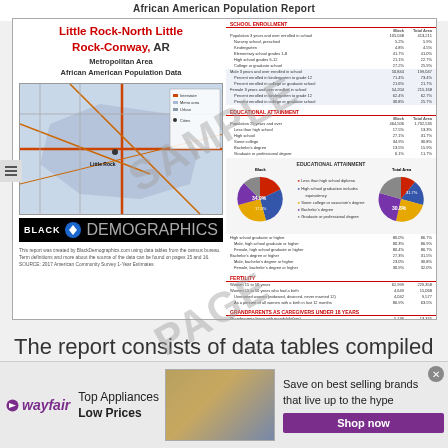African American Population Report
[Figure (infographic): Thumbnail preview of Little Rock-North Little Rock-Conway AR Metropolitan Area African American Population Data report, showing a map of the area and a Black Demographics logo, with SAMPLE PAGE watermark overlay]
The report consists of data tables compiled from the 2017 Census Bureau American Community Survey 1-Year Estimates and compares the metropolitan area
[Figure (infographic): Wayfair advertisement banner: Top Appliances Low Prices, with stove image and Shop now button]